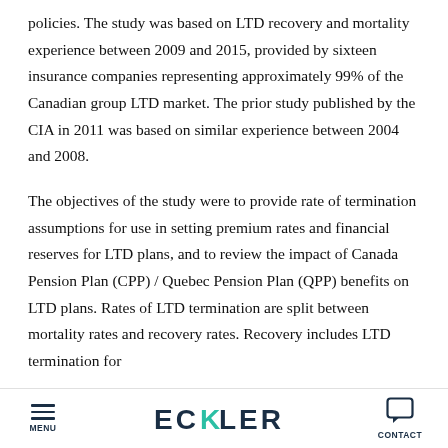policies. The study was based on LTD recovery and mortality experience between 2009 and 2015, provided by sixteen insurance companies representing approximately 99% of the Canadian group LTD market. The prior study published by the CIA in 2011 was based on similar experience between 2004 and 2008.
The objectives of the study were to provide rate of termination assumptions for use in setting premium rates and financial reserves for LTD plans, and to review the impact of Canada Pension Plan (CPP) / Quebec Pension Plan (QPP) benefits on LTD plans. Rates of LTD termination are split between mortality rates and recovery rates. Recovery includes LTD termination for
MENU | ECKLER | CONTACT